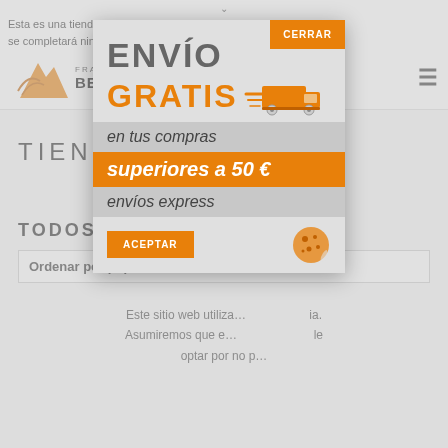Esta es una tienda de demostración para realizar pruebas — no se completará ningún pedido. Descartar
[Figure (logo): Fragancias Benicadell logo with orange mountain/peaks illustration]
TIENDA
TODOS LOS
Ordenar por popu
[Figure (infographic): Popup banner: ENVÍO GRATIS en tus compras superiores a 50€ envíos express, with orange truck illustration and CERRAR button]
Este sitio web utiliza... ia. Asumiremos que e... le optar por no p...
ACEPTAR